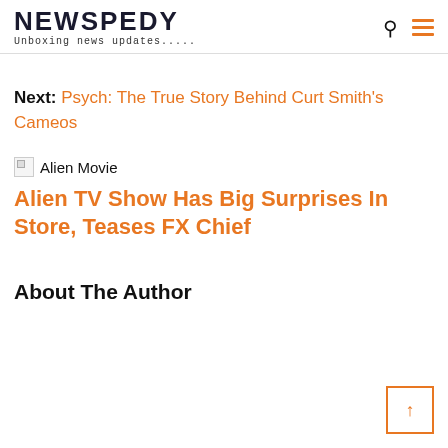NEWSPEDY — Unboxing news updates.....
Next: Psych: The True Story Behind Curt Smith's Cameos
[Figure (illustration): Broken image placeholder labeled 'Alien Movie']
Alien TV Show Has Big Surprises In Store, Teases FX Chief
About The Author